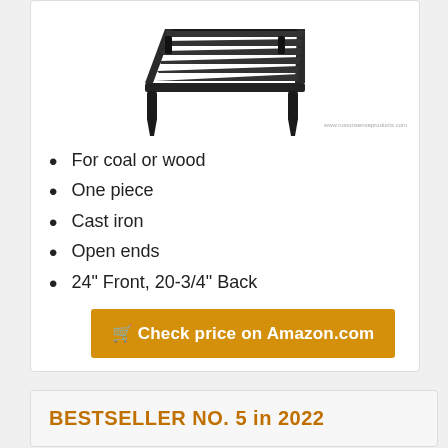[Figure (photo): Black cast iron fireplace grate with slatted top and four short legs, viewed from a slight angle above]
For coal or wood
One piece
Cast iron
Open ends
24" Front, 20-3/4" Back
🛒 Check price on Amazon.com
BESTSELLER NO. 5 in 2022